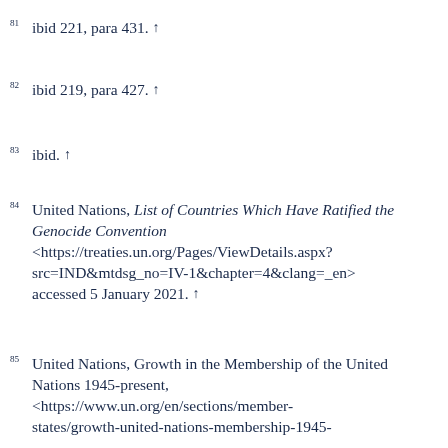81 ibid 221, para 431. ↑
82 ibid 219, para 427. ↑
83 ibid. ↑
84 United Nations, List of Countries Which Have Ratified the Genocide Convention <https://treaties.un.org/Pages/ViewDetails.aspx?src=IND&mtdsg_no=IV-1&chapter=4&clang=_en> accessed 5 January 2021. ↑
85 United Nations, Growth in the Membership of the United Nations 1945-present, <https://www.un.org/en/sections/member-states/growth-united-nations-membership-1945-